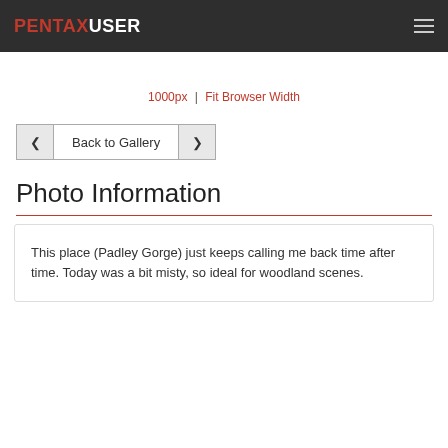PENTAXUSER
1000px | Fit Browser Width
‹ Back to Gallery ›
Photo Information
This place (Padley Gorge) just keeps calling me back time after time. Today was a bit misty, so ideal for woodland scenes.